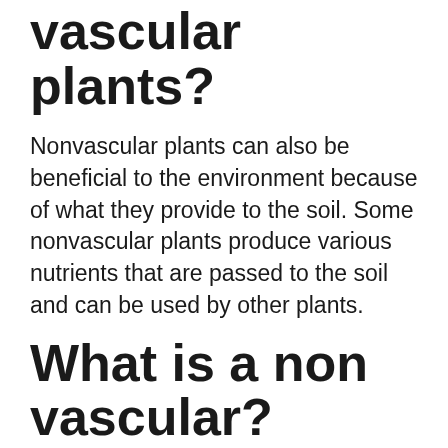vascular plants?
Nonvascular plants can also be beneficial to the environment because of what they provide to the soil. Some nonvascular plants produce various nutrients that are passed to the soil and can be used by other plants.
What is a non vascular?
Non-vascular plants are plants without a vascular system consisting of xylem and phloem. Although non-vascular plants lack these particular tissues, many possess simpler tissues that are specialized for internal transport of water. Non-vascular plants do not have a wide variety of